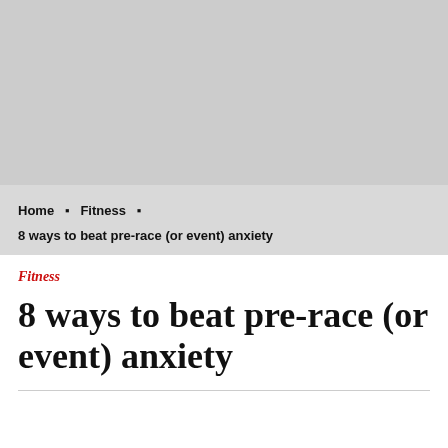[Figure (photo): Large gray placeholder image at top of page]
Home ▸ Fitness ▸
8 ways to beat pre-race (or event) anxiety
Fitness
8 ways to beat pre-race (or event) anxiety